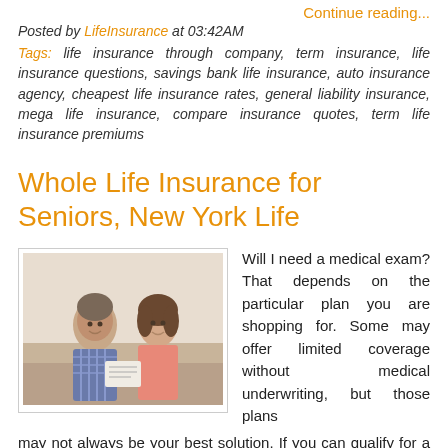Continue reading...
Posted by LifeInsurance at 03:42AM
Tags: life insurance through company, term insurance, life insurance questions, savings bank life insurance, auto insurance agency, cheapest life insurance rates, general liability insurance, mega life insurance, compare insurance quotes, term life insurance premiums
Whole Life Insurance for Seniors, New York Life
[Figure (photo): An older couple sitting together on a couch, smiling, holding papers]
Will I need a medical exam? That depends on the particular plan you are shopping for. Some may offer limited coverage without medical underwriting, but those plans may not always be your best solution. If you can qualify for a plan that does includes a medical exam, that could provide you with more options or higher coverage. How much coverage can you get? Most life insurance options for seniors cover a smaller